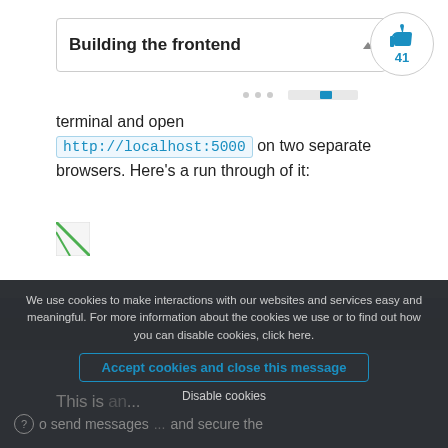Building the frontend
terminal and open http://localhost:5000 on two separate browsers. Here's a run through of it:
[Figure (photo): Broken image placeholder icon]
We use cookies to make interactions with our websites and services easy and meaningful. For more information about the cookies we use or to find out how you can disable cookies, click here.
Accept cookies and close this message
Disable cookies
This is an ... Pusher
to send messages ... and secure the